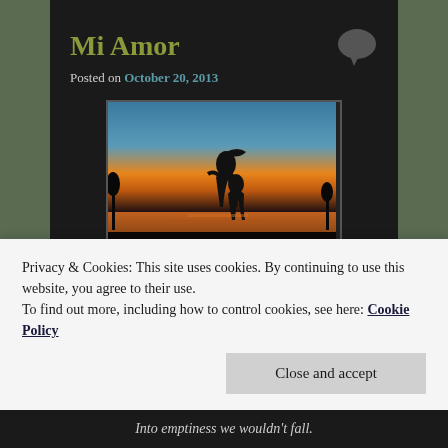Mi Amor
Posted on October 20, 2013
[Figure (photo): Silhouette of a couple in a romantic pose on a beach at sunset, warm orange and blue sky reflected on water]
© Vladi Samodarov | Dreamstime.com
Privacy & Cookies: This site uses cookies. By continuing to use this website, you agree to their use.
To find out more, including how to control cookies, see here: Cookie Policy
Close and accept
Into emptiness we wouldn't fall.